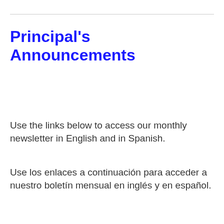Principal's Announcements
Use the links below to access our monthly newsletter in English and in Spanish.
Use los enlaces a continuación para acceder a nuestro boletín mensual en inglés y en español.